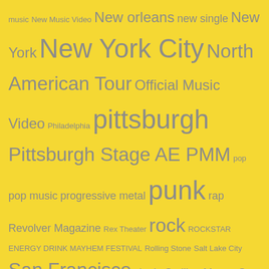[Figure (infographic): Tag cloud on yellow background with music/entertainment related tags in various font sizes in gray color. Tags include: music, New Music Video, New orleans, new single, New York, New York City, North American Tour, Official Music Video, Philadelphia, pittsburgh, Pittsburgh Stage AE PMM, pop, pop music, progressive metal, punk, rap, Revolver Magazine, Rex Theater, rock, ROCKSTAR ENERGY DRINK MAYHEM FESTIVAL, Rolling Stone, Salt Lake City, San Francisco, single, Smiling Moose, St Louis, streaming music, Texas, Twitter, United States, video, www, youtube, YOUTUBE]
Announcement/New
Advertisements
[Figure (screenshot): DuckDuckGo advertisement banner: Search, browse, and email with more privacy. All in One Free App. Orange background with DuckDuckGo logo on dark background.]